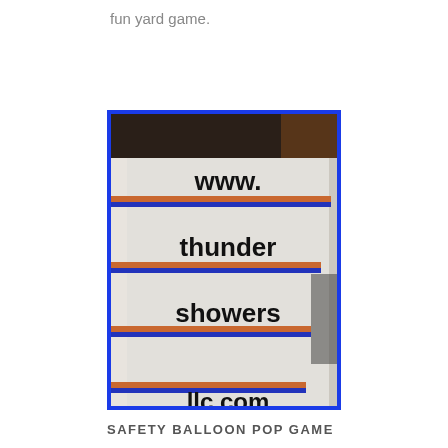fun yard game.
[Figure (photo): A white letter board sign with orange and blue stripes between rows, displaying the text 'www. thunder showers llc.com' on separate rows.]
SAFETY BALLOON POP GAME